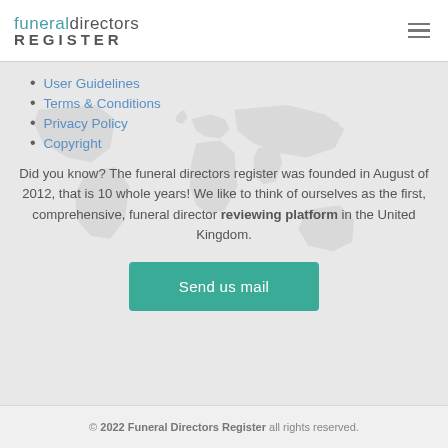funeral directors REGISTER
User Guidelines
Terms & Conditions
Privacy Policy
Copyright
Did you know? The funeral directors register was founded in August of 2012, that is 10 whole years! We like to think of ourselves as the first, comprehensive, funeral director reviewing platform in the United Kingdom.
[Figure (other): Send us mail button - teal/green rounded rectangle button]
© 2022 Funeral Directors Register all rights reserved.